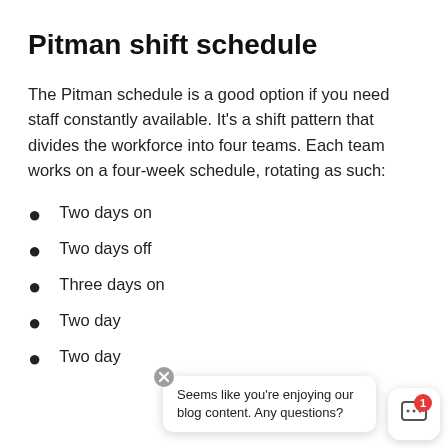Pitman shift schedule
The Pitman schedule is a good option if you need staff constantly available. It’s a shift pattern that divides the workforce into four teams. Each team works on a four-week schedule, rotating as such:
Two days on
Two days off
Three days on
Two day…
Two day…